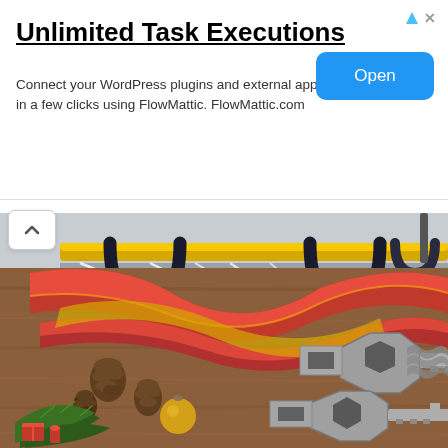[Figure (screenshot): Advertisement banner with triangle and X icons top right, 'Open' blue button]
Unlimited Task Executions
Connect your WordPress plugins and external apps in a few clicks using FlowMattic. FlowMattic.com
[Figure (photo): Photo of road/highway with yellow horizontal bar and black U-shaped bike locks or barriers hanging from it, viewed from above]
Ashburn, Virginia: Did You Know?
iQ Report
[Figure (photo): Christmas-themed photo on wooden surface showing red and gold ribbon, pine cones, ornaments, red gift boxes, and metallic multi-tool key-shaped tools]